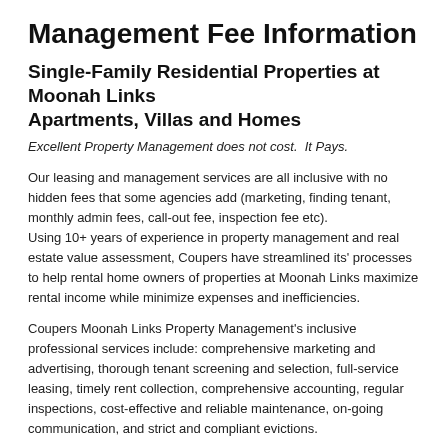Management Fee Information
Single-Family Residential Properties at Moonah Links
Apartments, Villas and Homes
Excellent Property Management does not cost.  It Pays.
Our leasing and management services are all inclusive with no hidden fees that some agencies add (marketing, finding tenant, monthly admin fees, call-out fee, inspection fee etc).
Using 10+ years of experience in property management and real estate value assessment, Coupers have streamlined its' processes to help rental home owners of properties at Moonah Links maximize rental income while minimize expenses and inefficiencies.
Coupers Moonah Links Property Management's inclusive professional services include: comprehensive marketing and advertising, thorough tenant screening and selection, full-service leasing, timely rent collection, comprehensive accounting, regular inspections, cost-effective and reliable maintenance, on-going communication, and strict and compliant evictions.
• Marketing & Advertising